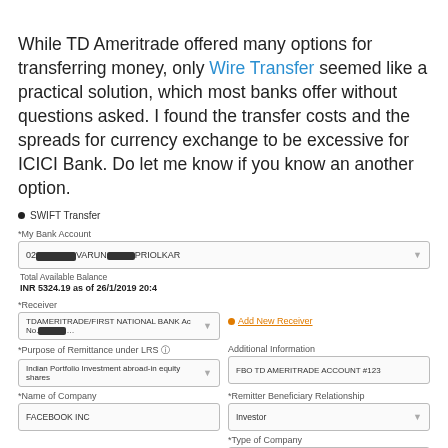While TD Ameritrade offered many options for transferring money, only Wire Transfer seemed like a practical solution, which most banks offer without questions asked. I found the transfer costs and the spreads for currency exchange to be excessive for ICICI Bank. Do let me know if you know an another option.
[Figure (screenshot): Screenshot of ICICI Bank SWIFT Transfer form showing fields: My Bank Account (redacted), Total Available Balance (INR 5324.19 as of 26/1/2019 20:4), Receiver (TDAMERITRADE/FIRST NATIONAL BANK Ac No redacted), Add New Receiver link, Purpose of Remittance under LRS (Indian Portfolio Investment abroad-in equity shares), Additional Information (FBO TD AMERITRADE ACCOUNT #123), Name of Company (FACEBOOK INC), Remitter Beneficiary Relationship (Investor), Type of Company (Limited), Country of Incorporation (United States of America), Listed/Unlisted radio buttons, Stock Exchange where listed (NASDAQ)]